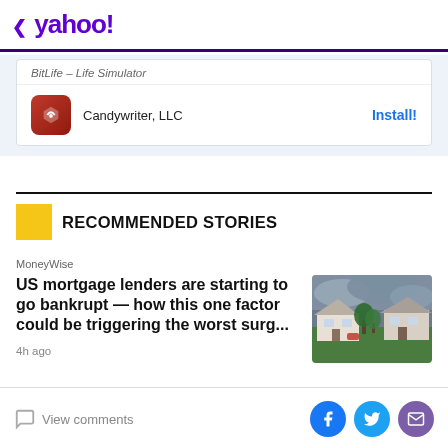< yahoo!
[Figure (screenshot): BitLife - Life Simulator app ad with Candywriter, LLC and Install! button]
RECOMMENDED STORIES
MoneyWise
US mortgage lenders are starting to go bankrupt — how this one factor could be triggering the worst surg...
4h ago
View comments